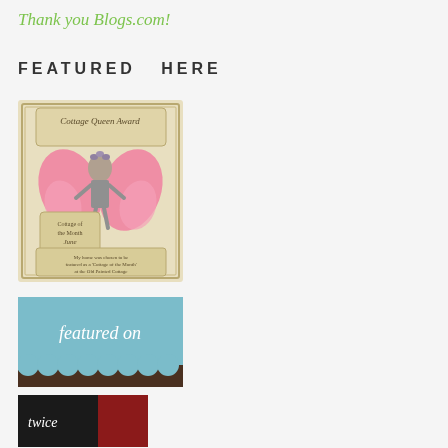Thank you Blogs.com!
FEATURED  HERE
[Figure (illustration): Cottage Queen Award badge featuring a child with pink butterfly wings and a floral crown, text reads 'Cottage Queen Award', 'Cottage of the Month June 2008', 'My home was chosen to be featured as a Cottage of the Month at the Old Painted Cottage']
[Figure (illustration): Blue and brown banner reading 'featured on' with scalloped brown border at bottom]
[Figure (illustration): Partial banner showing word 'twice' with dark background and red book spine visible]